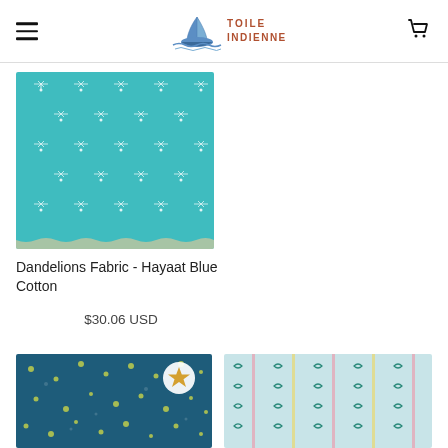TOILE INDIENNE
[Figure (photo): Teal fabric with white dandelion pattern on a slightly frayed fabric swatch]
Dandelions Fabric - Hayaat Blue Cotton
$30.06 USD
[Figure (photo): Dark teal/navy fabric with small yellow-green dot pattern and a gold star badge overlay]
[Figure (photo): Light blue fabric with small teal leaf/arrow motif and pink and yellow vertical stripe pattern]